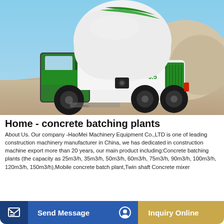[Figure (photo): Green and white self-loading concrete mixer truck on a sandy construction site with gravel mounds and blue sky in background. The truck has large black tires and a prominent rotating drum marked with green stripes and '6.5'.]
Home - concrete batching plants
About Us. Our company -HaoMei Machinery Equipment Co.,LTD is one of leading construction machinery manufacturer in China, we has dedicated in construction machine export more than 20 years, our main product including:Concrete batching plants (the capacity as 25m3/h, 35m3/h, 50m3/h, 60m3/h, 75m3/h, 90m3/h, 100m3/h, 120m3/h, 150m3/h),Mobile concrete batch plant,Twin shaft Concrete mixer